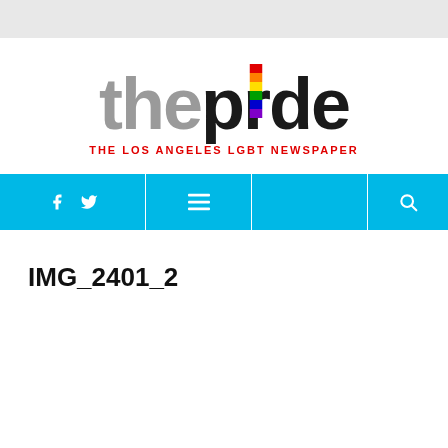[Figure (logo): The Pride newspaper logo — 'the' in gray, 'pride' in black with rainbow-colored vertical bar over the letter 'i', tagline 'THE LOS ANGELES LGBT NEWSPAPER' in red below]
[Figure (other): Navigation bar in cyan/sky blue with social media icons (Facebook, Twitter), hamburger menu icon, and search icon]
IMG_2401_2